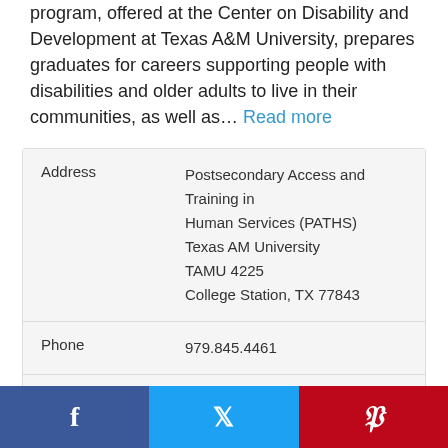program, offered at the Center on Disability and Development at Texas A&M University, prepares graduates for careers supporting people with disabilities and older adults to live in their communities, as well as... Read more
| Field | Value |
| --- | --- |
| Address | Postsecondary Access and Training in Human Services (PATHS)
Texas AM University
TAMU 4225
College Station, TX 77843 |
| Phone | 979.845.4461 |
| Web | Program website |
| Contact | Tracy Glass |
[Figure (infographic): Social media share bar with Facebook, Twitter, and Pinterest buttons]